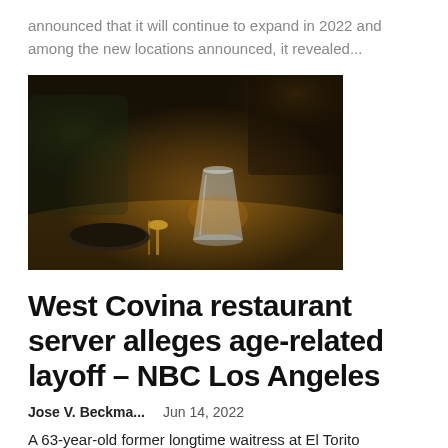announced that it will continue to expand in 2022 and among the new locations announced, it revealed...
[Figure (photo): Dark atmospheric restaurant table setting with a crystal glass, cutlery, and dark plate in moody lighting]
West Covina restaurant server alleges age-related layoff – NBC Los Angeles
Jose V. Beckma...    Jun 14, 2022
A 63-year-old former longtime waitress at El Torito restaurant in West Covina is suing the Mexican restaurant chain's parent company, alleging she was wrongfully fired earlier this year because